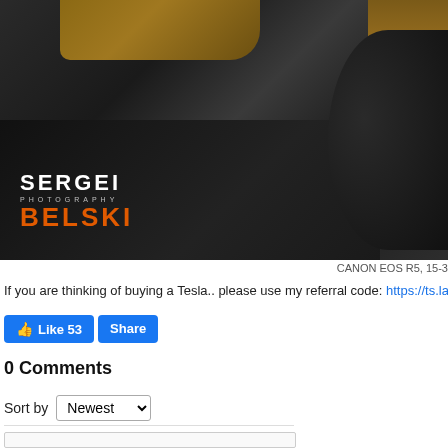[Figure (photo): Close-up interior photo of a car (Tesla) showing black leather door panel, dashboard trim with wood/brown accents, and steering wheel. Watermark 'SERGEI PHOTOGRAPHY BELSKI' visible in lower left with orange text for BELSKI.]
CANON EOS R5, 15-3
If you are thinking of buying a Tesla.. please use my referral code: https://ts.la/...
Like 53  Share
0 Comments
Sort by  Newest